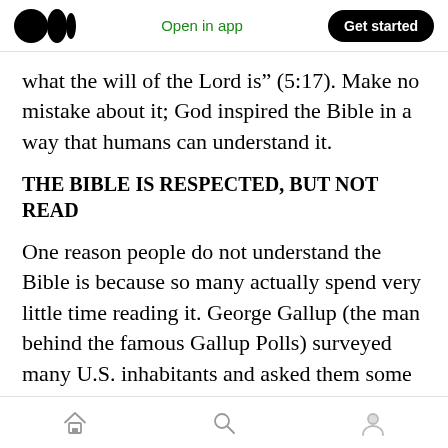Open in app | Get started
what the will of the Lord is” (5:17). Make no mistake about it; God inspired the Bible in a way that humans can understand it.
THE BIBLE IS RESPECTED, BUT NOT READ
One reason people do not understand the Bible is because so many actually spend very little time reading it. George Gallup (the man behind the famous Gallup Polls) surveyed many U.S. inhabitants and asked them some basic Bible questions. The results of the survey showed the degree of biblical ignorance that is so prevalent
Home | Search | Profile